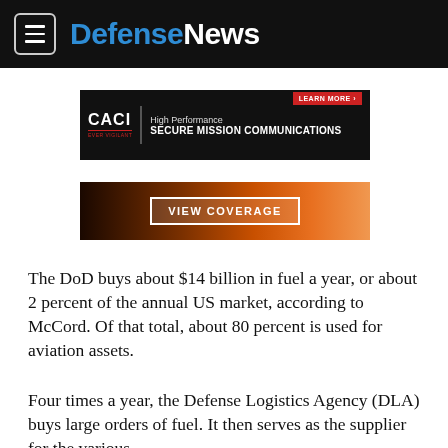DefenseNews
[Figure (other): CACI advertisement banner: High Performance Secure Mission Communications with Learn More button]
[Figure (other): View Coverage advertisement banner with dark/fiery background]
The DoD buys about $14 billion in fuel a year, or about 2 percent of the annual US market, according to McCord. Of that total, about 80 percent is used for aviation assets.
Four times a year, the Defense Logistics Agency (DLA) buys large orders of fuel. It then serves as the supplier for the various